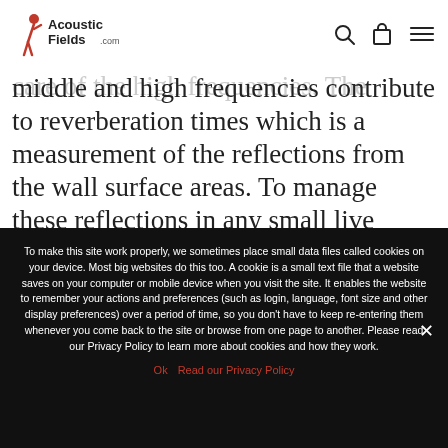Acoustic Fields .com [logo with navigation icons: search, bag, menu]
room. After some additional fine-tune adjustments we then need to take care of the high frequencies. The middle and high frequencies contribute to reverberation times which is a measurement of the reflections from the wall surface areas. To manage these reflections in any small live room
To make this site work properly, we sometimes place small data files called cookies on your device. Most big websites do this too. A cookie is a small text file that a website saves on your computer or mobile device when you visit the site. It enables the website to remember your actions and preferences (such as login, language, font size and other display preferences) over a period of time, so you don't have to keep re-entering them whenever you come back to the site or browse from one page to another. Please read our Privacy Policy to learn more about cookies and how they work.
Ok   Read our Privacy Policy